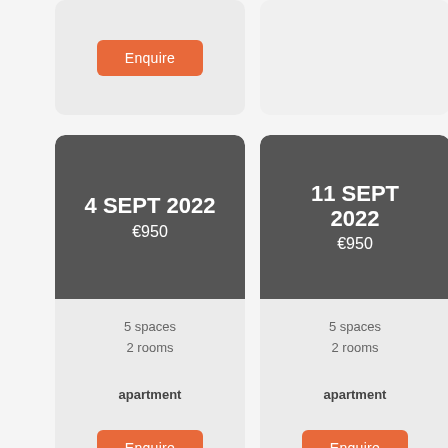Enquire
4 SEPT 2022
€950
5 spaces
2 rooms
apartment
Enquire
11 SEPT 2022
€950
5 spaces
2 rooms
apartment
Enquire